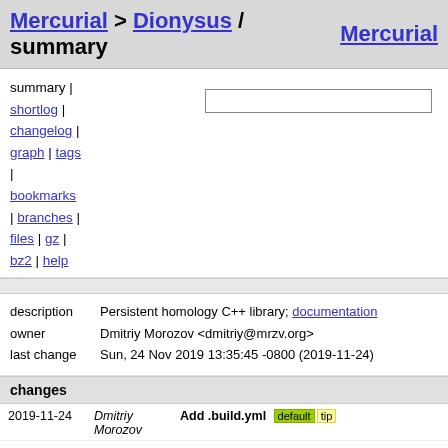Mercurial > Dionysus / summary    Mercurial
summary | shortlog | changelog | graph | tags | bookmarks | branches | files | gz | bz2 | help
| description | owner | last change |
| --- | --- | --- |
| Persistent homology C++ library; documentation |  |  |
| Dmitriy Morozov <dmitriy@mrzv.org> |  |  |
| Sun, 24 Nov 2019 13:35:45 -0800 (2019-11-24) |  |  |
changes
| date | author | description |
| --- | --- | --- |
| 2019-11-24 | Dmitriy Morozov | Add .build.yml default tip |
| 2019-11-24 | Dmitriy Morozov | Make dionysus-link depend on dionysus |
| 2019-11-24 | Dmitriy Morozov | Comment out explicit typedefs to make GCC happy |
| 2019-11-24 | Dmitriy Morozov | Use boost/next_prior.hpp with Boost >= 1.67 |